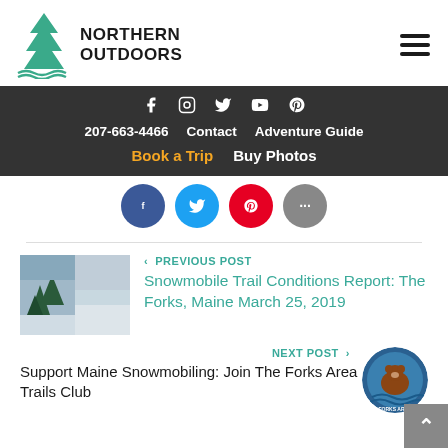[Figure (logo): Northern Outdoors logo with pine tree and waves, teal/dark green colors]
Northern Outdoors
[Figure (infographic): Dark navigation bar with social icons (Facebook, Instagram, Twitter, YouTube, Pinterest), phone number 207-663-4466, Contact, Adventure Guide links, Book a Trip (yellow) and Buy Photos links]
[Figure (infographic): Social share buttons: Facebook (blue circle), Twitter (blue circle), Pinterest (red circle), More (gray circle)]
[Figure (photo): Thumbnail photo of snowmobile trail, winter forest scene]
< PREVIOUS POST
Snowmobile Trail Conditions Report: The Forks, Maine March 25, 2019
NEXT POST >
Support Maine Snowmobiling: Join The Forks Area Trails Club
[Figure (logo): Circular logo with bear and water imagery]